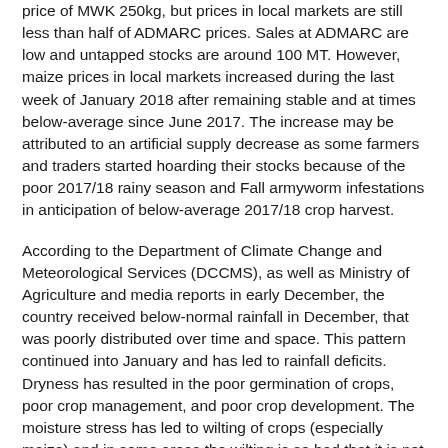price of MWK 250kg, but prices in local markets are still less than half of ADMARC prices. Sales at ADMARC are low and untapped stocks are around 100 MT. However, maize prices in local markets increased during the last week of January 2018 after remaining stable and at times below-average since June 2017. The increase may be attributed to an artificial supply decrease as some farmers and traders started hoarding their stocks because of the poor 2017/18 rainy season and Fall armyworm infestations in anticipation of below-average 2017/18 crop harvest.
According to the Department of Climate Change and Meteorological Services (DCCMS), as well as Ministry of Agriculture and media reports in early December, the country received below-normal rainfall in December, that was poorly distributed over time and space. This pattern continued into January and has led to rainfall deficits. Dryness has resulted in the poor germination of crops, poor crop management, and poor crop development. The moisture stress has led to wilting of crops (especially maize) and in some areas the wilting is so bad that it is not irreversible, so crop loss is expected and overall reductions in yields in the short term are still there.